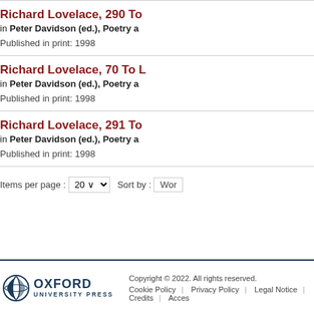Richard Lovelace, 290 To
in Peter Davidson (ed.), Poetry a
Published in print: 1998
Richard Lovelace, 70 To L
in Peter Davidson (ed.), Poetry a
Published in print: 1998
Richard Lovelace, 291 To
in Peter Davidson (ed.), Poetry a
Published in print: 1998
Items per page : 20  Sort by : Wor
Copyright © 2022. All rights reserved. Cookie Policy  Privacy Policy  Legal Notice  Credits  Acces